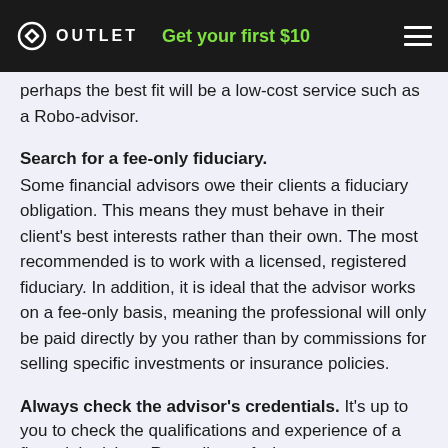OUTLET — Get your first $10
perhaps the best fit will be a low-cost service such as a Robo-advisor.
Search for a fee-only fiduciary.
Some financial advisors owe their clients a fiduciary obligation. This means they must behave in their client's best interests rather than their own. The most recommended is to work with a licensed, registered fiduciary. In addition, it is ideal that the advisor works on a fee-only basis, meaning the professional will only be paid directly by you rather than by commissions for selling specific investments or insurance policies.
Always check the advisor's credentials.
It's up to you to check the qualifications and experience of a financial advisor. Regardless of what